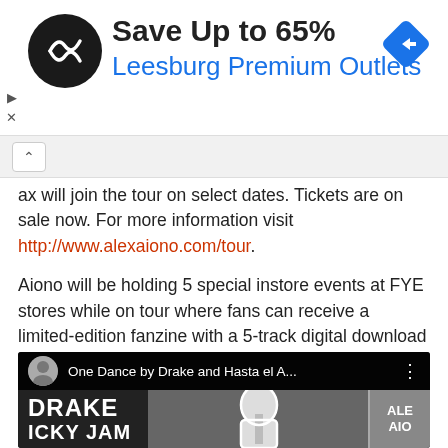[Figure (screenshot): Advertisement banner for Leesburg Premium Outlets showing logo, 'Save Up to 65%' text, and navigation icon]
ax will join the tour on select dates. Tickets are on sale now. For more information visit http://www.alexaiono.com/tour.
Aiono will be holding 5 special instore events at FYE stores while on tour where fans can receive a limited-edition fanzine with a 5-track digital download card.  Cities for the FYE instore events include Chicago, Philadelphia, Boston, Dallas and Los Angeles,
[Figure (screenshot): YouTube video thumbnail showing 'One Dance by Drake and Hasta el A...' with a person singing at a microphone, DRAKE / ICKY JAM text overlay]